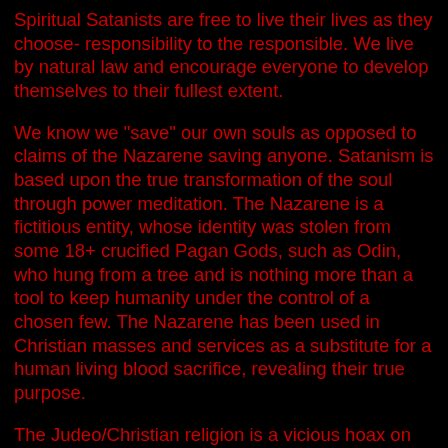Spiritual Satanists are free to live their lives as they choose- responsibility to the responsible. We live by natural law and encourage everyone to develop themselves to their fullest extent.
We know we "save" our own souls as opposed to claims of the Nazarene saving anyone. Satanism is based upon the true transformation of the soul through power meditation. The Nazarene is a fictitious entity, whose identity was stolen from some 18+ crucified Pagan Gods, such as Odin, who hung from a tree and is nothing more than a tool to keep humanity under the control of a chosen few. The Nazarene has been used in Christian masses and services as a substitute for a human living blood sacrifice, revealing their true purpose.
The Judeo/Christian religion is a vicious hoax on humanity of catastrophic proportions. For a hoax to succeed there has to be a lack of knowledge on the part of the victim. The Christian religion and its cohorts actively suppress knowledge and free